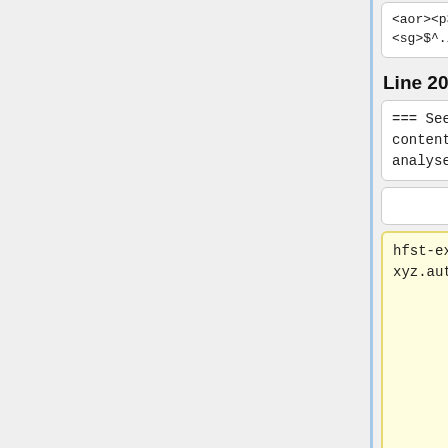<aor><p3>
<sg>$^./<sent>$
<aor><p3>
<sg>$^./<sent>$
Line 206:
Line 215:
=== See full contents of analyser ===
=== See full contents of analyser ===
hfst-expand xyz.automorf.hfst
The following command outputs the '''full contents of the transducer'''. Note that it only does one cycle through the graph, which means for numbers you'll only get double